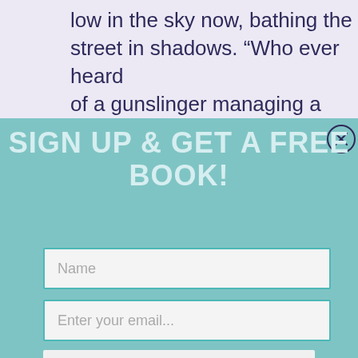low in the sky now, bathing the street in shadows. “Who ever heard of a gunslinger managing a ranch anyway? You’re nothing but an outlaw who will work for anyone
SIGN UP & GET A FREE BOOK!
[Figure (other): Close button (X) circle icon in top right of modal]
Name
Enter your email...